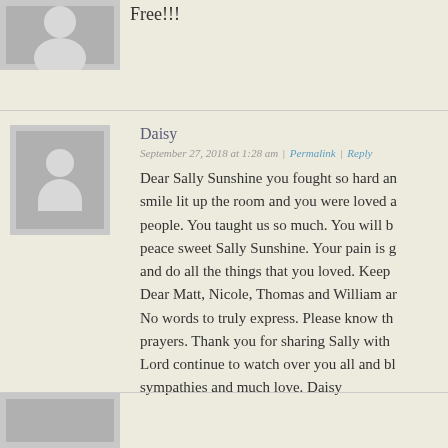Free!!!
Daisy
September 27, 2018 at 1:28 am | Permalink | Reply
Dear Sally Sunshine you fought so hard and your smile lit up the room and you were loved and people. You taught us so much. You will be at peace sweet Sally Sunshine. Your pain is gone and do all the things that you loved. Keep Dear Matt, Nicole, Thomas and William and No words to truly express. Please know that prayers. Thank you for sharing Sally with Lord continue to watch over you all and sympathies and much love. Daisy